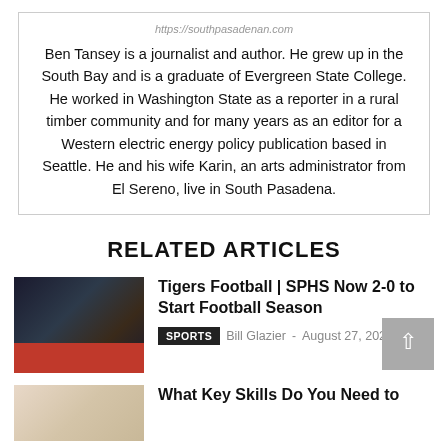https://southpasadenan.com
Ben Tansey is a journalist and author. He grew up in the South Bay and is a graduate of Evergreen State College. He worked in Washington State as a reporter in a rural timber community and for many years as an editor for a Western electric energy policy publication based in Seattle. He and his wife Karin, an arts administrator from El Sereno, live in South Pasadena.
RELATED ARTICLES
[Figure (photo): Football player wearing jersey number 20 for South Pasadena High School]
Tigers Football | SPHS Now 2-0 to Start Football Season
SPORTS  Bill Glazier - August 27, 2022
[Figure (photo): Partial photo for second article]
What Key Skills Do You Need to